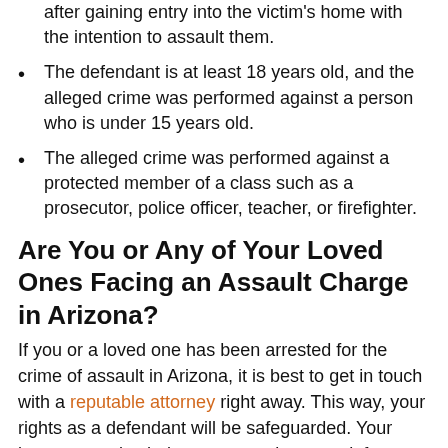after gaining entry into the victim's home with the intention to assault them.
The defendant is at least 18 years old, and the alleged crime was performed against a person who is under 15 years old.
The alleged crime was performed against a protected member of a class such as a prosecutor, police officer, teacher, or firefighter.
Are You or Any of Your Loved Ones Facing an Assault Charge in Arizona?
If you or a loved one has been arrested for the crime of assault in Arizona, it is best to get in touch with a reputable attorney right away. This way, your rights as a defendant will be safeguarded. Your lawyer can also help you strategize your defense and get the best possible result for your case. Contact the Law Offices of Gary L Rohlwing for help. Atty. Rohlwing has successfully defended hundreds of assault cases in the state of Arizona. He is also well-versed in the Arizona justice system.
Aggravated Assault Charges Defense in Arizona